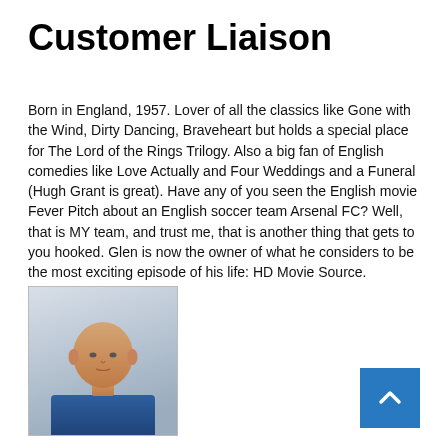Customer Liaison
Born in England, 1957. Lover of all the classics like Gone with the Wind, Dirty Dancing, Braveheart but holds a special place for The Lord of the Rings Trilogy. Also a big fan of English comedies like Love Actually and Four Weddings and a Funeral (Hugh Grant is great). Have any of you seen the English movie Fever Pitch about an English soccer team Arsenal FC? Well, that is MY team, and trust me, that is another thing that gets to you hooked. Glen is now the owner of what he considers to be the most exciting episode of his life: HD Movie Source.
[Figure (photo): Headshot photo of a bald middle-aged man wearing a blue polo shirt, against a light grey background.]